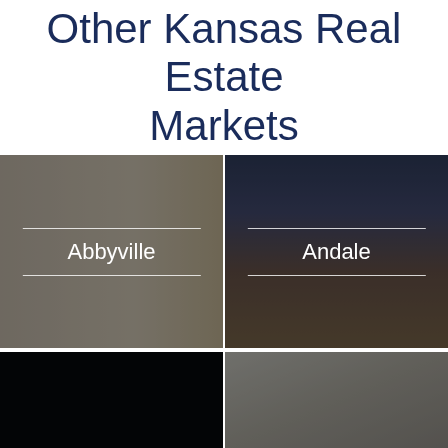Other Kansas Real Estate Markets
[Figure (photo): Interior room photo with white French doors and yellow/green accents, labeled Abbyville]
[Figure (photo): Exterior photo of dark brown house with blue windows at dusk, labeled Andale]
[Figure (photo): Very dark/black interior photo, partially visible]
[Figure (photo): Interior room photo with windows and pendant light, partially visible]